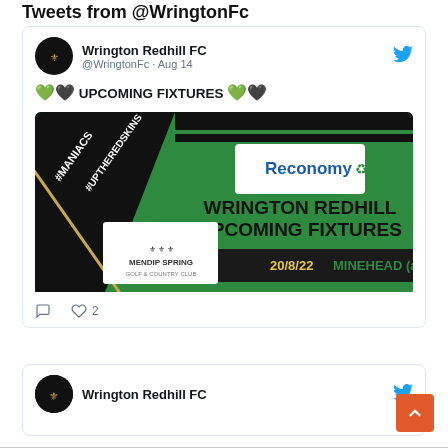Tweets from @WringtonFc
Wrington Redhill FC @WringtonFc · Aug 14
🤍🖤 UPCOMING FIXTURES 💚🖤
[Figure (photo): Upcoming Fixtures promotional image for Wrington Redhill FC showing 20/8/22 MINEHEAD (a) 3pm, with Reconomy and Mendip Spring Golf & Country Club sponsors, and hashtags #MANIACS #UPTHEREDSKINS]
💬 ❤ 2
Wrington Redhill FC